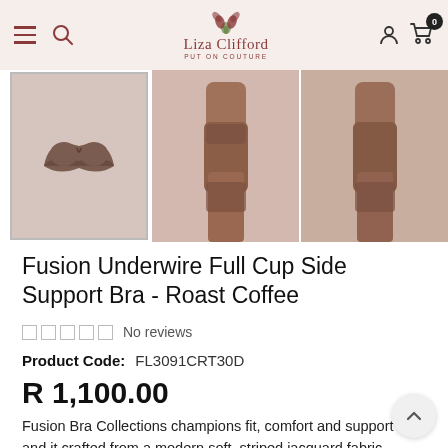Liza Clifford — PUT ON COUTURE
[Figure (photo): Three product photos: a brown/coffee-colored bra thumbnail (selected/highlighted), and two photos of a model wearing matching coffee-colored lingerie (front and back views)]
Fusion Underwire Full Cup Side Support Bra - Roast Coffee
No reviews
Product Code:  FL3091CRT30D
R 1,100.00
Fusion Bra Collections champions fit, comfort and support and it crafted from a modern soft, striped jacquard fabric. The top section of the Full cup bra